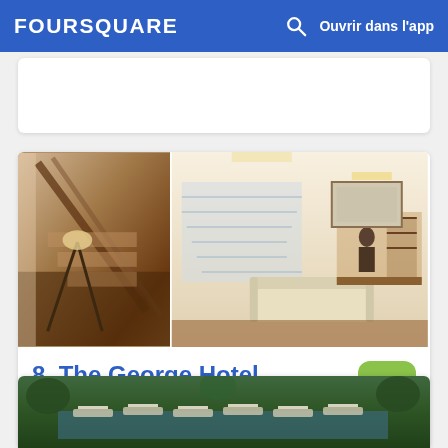FOURSQUARE  🔍  Ouvrir dans l'app
[Figure (photo): Hotel interior photo collage showing staircase and lobby area of The George Hotel]
8. The George Hotel
50 Park Terrace, Christchurch, Canterbury
Hôtel · Victoria · 8 conseils et avis
[Figure (photo): Partial photo of outdoor pool area at another hotel listing below]